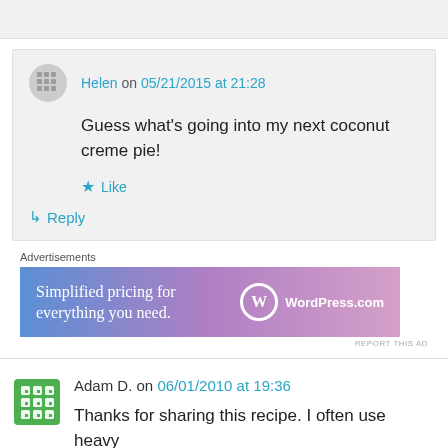Helen on 05/21/2015 at 21:28 — Guess what's going into my next coconut creme pie! Like Reply
[Figure (other): WordPress.com advertisement banner: Simplified pricing for everything you need.]
Adam D. on 06/01/2010 at 19:36 — Thanks for sharing this recipe. I often use heavy